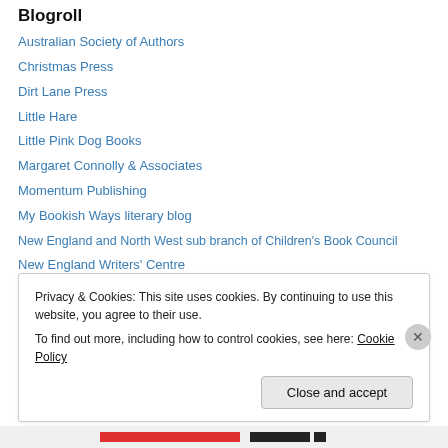Blogroll
Australian Society of Authors
Christmas Press
Dirt Lane Press
Little Hare
Little Pink Dog Books
Margaret Connolly & Associates
Momentum Publishing
My Bookish Ways literary blog
New England and North West sub branch of Children's Book Council
New England Writers' Centre
Peter Higgins, author of Wolfhound Century series
Random House Australia
Privacy & Cookies: This site uses cookies. By continuing to use this website, you agree to their use. To find out more, including how to control cookies, see here: Cookie Policy